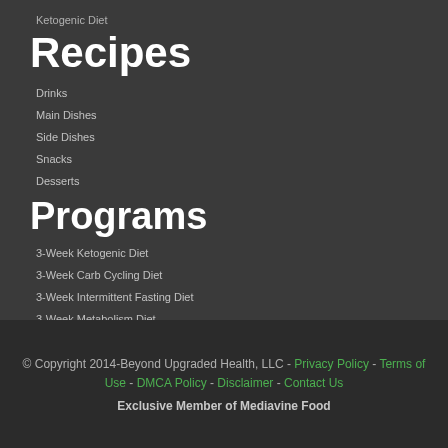Ketogenic Diet
Recipes
Drinks
Main Dishes
Side Dishes
Snacks
Desserts
Programs
3-Week Ketogenic Diet
3-Week Carb Cycling Diet
3-Week Intermittent Fasting Diet
3-Week Metabolism Diet
8-Week Metabolism Makeover
© Copyright 2014-Beyond Upgraded Health, LLC - Privacy Policy - Terms of Use - DMCA Policy - Disclaimer - Contact Us
Exclusive Member of Mediavine Food